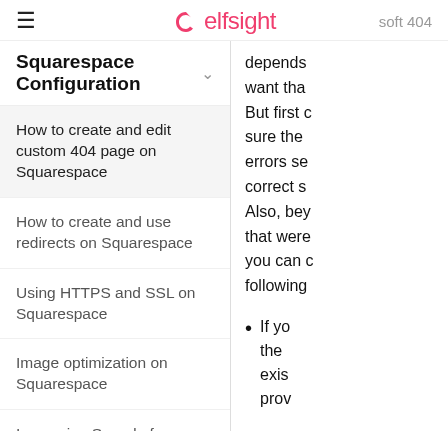≡  elfsight  soft 404
Squarespace Configuration
How to create and edit custom 404 page on Squarespace
How to create and use redirects on Squarespace
Using HTTPS and SSL on Squarespace
Image optimization on Squarespace
Increasing Speed of Squarespace Site
Squarespace DNS configuration
depends want tha But first c sure the errors se correct s Also, bey that were you can c following
If yo the exis prov